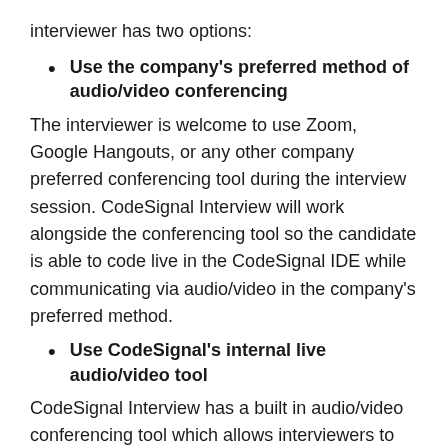interviewer has two options:
Use the company's preferred method of audio/video conferencing
The interviewer is welcome to use Zoom, Google Hangouts, or any other company preferred conferencing tool during the interview session. CodeSignal Interview will work alongside the conferencing tool so the candidate is able to code live in the CodeSignal IDE while communicating via audio/video in the company's preferred method.
Use CodeSignal's internal live audio/video tool
CodeSignal Interview has a built in audio/video conferencing tool which allows interviewers to connect with candidates directly in the coding environment of the interview session. Refer to our